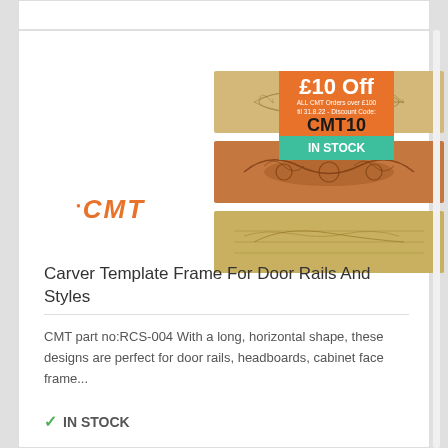[Figure (photo): Product image showing three horizontal wood strips with carved decorative patterns (scrollwork, floral designs). CMT logo in orange italic below the strips. An orange promotional badge shows '£10 Off' with discount details and a teal 'IN STOCK' badge overlaid on the image.]
Carver Template Frame For Door Rails And Styles
CMT part no:RCS-004 With a long, horizontal shape, these designs are perfect for door rails, headboards, cabinet face frame...
IN STOCK